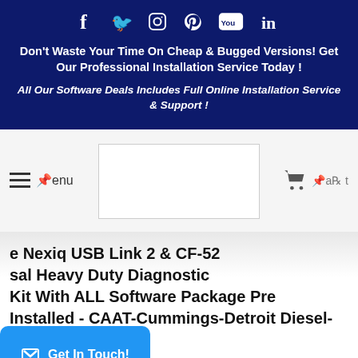Social icons: Facebook, Twitter, Instagram, Pinterest, YouTube, LinkedIn
Don't Waste Your Time On Cheap & Bugged Versions! Get Our Professional Installation Service Today !
All Our Software Deals Includes Full Online Installation Service & Support !
[Figure (screenshot): Navigation bar with hamburger menu, logo placeholder box, shopping cart icon]
e Nexiq USB Link 2 & CF-52 sal Heavy Duty Diagnostic Kit With ALL Software Package Pre Installed - CAAT-Cummings-Detroit Diesel-